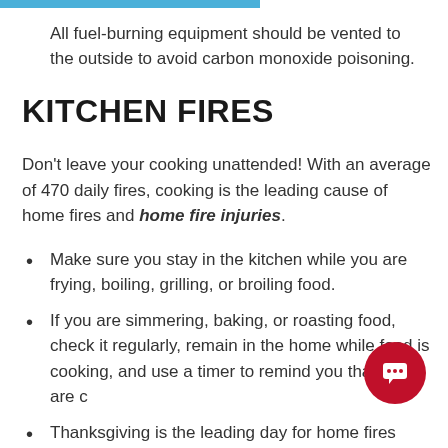All fuel-burning equipment should be vented to the outside to avoid carbon monoxide poisoning.
KITCHEN FIRES
Don't leave your cooking unattended! With an average of 470 daily fires, cooking is the leading cause of home fires and home fire injuries.
Make sure you stay in the kitchen while you are frying, boiling, grilling, or broiling food.
If you are simmering, baking, or roasting food, check it regularly, remain in the home while food is cooking, and use a timer to remind you that you are cooking.
Thanksgiving is the leading day for home fires involving cooking equipment with more than 3 times